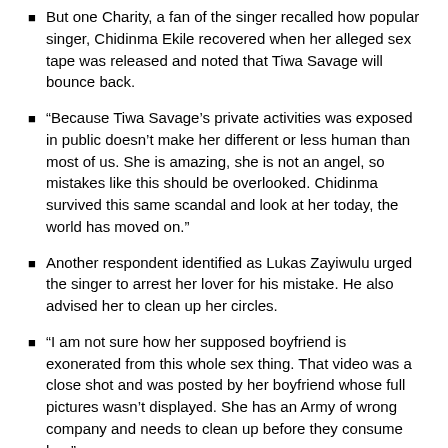But one Charity, a fan of the singer recalled how popular singer, Chidinma Ekile recovered when her alleged sex tape was released and noted that Tiwa Savage will bounce back.
“Because Tiwa Savage’s private activities was exposed in public doesn’t make her different or less human than most of us. She is amazing, she is not an angel, so mistakes like this should be overlooked. Chidinma survived this same scandal and look at her today, the world has moved on.”
Another respondent identified as Lukas Zayiwulu urged the singer to arrest her lover for his mistake. He also advised her to clean up her circles.
“I am not sure how her supposed boyfriend is exonerated from this whole sex thing. That video was a close shot and was posted by her boyfriend whose full pictures wasn’t displayed. She has an Army of wrong company and needs to clean up before they consume her.”